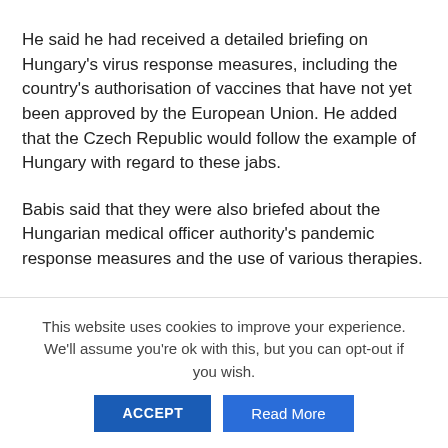He said he had received a detailed briefing on Hungary's virus response measures, including the country's authorisation of vaccines that have not yet been approved by the European Union. He added that the Czech Republic would follow the example of Hungary with regard to these jabs.
Babis said that they were also briefed about the Hungarian medical officer authority's pandemic response measures and the use of various therapies.
This website uses cookies to improve your experience. We'll assume you're ok with this, but you can opt-out if you wish.